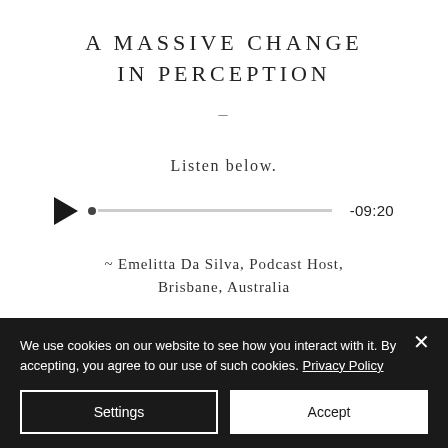A MASSIVE CHANGE IN PERCEPTION
Listen below.
[Figure (other): Audio player with play button, progress bar with dot, and time display showing -09:20]
~ Emelitta Da Silva, Podcast Host, Brisbane, Australia
We use cookies on our website to see how you interact with it. By accepting, you agree to our use of such cookies. Privacy Policy
Settings
Accept